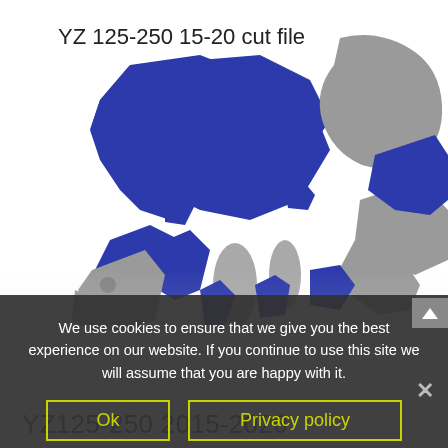YZ 125-250 15-20 cut file
[Figure (illustration): Flat lay cut file illustration of YZ 125-250 motorcycle body panels in blue and grey colors, showing various pieces of fairings and panels arranged on a white background.]
We use cookies to ensure that we give you the best experience on our website. If you continue to use this site we will assume that you are happy with it.
Ok
Privacy policy
YZ125-250 2015-2020